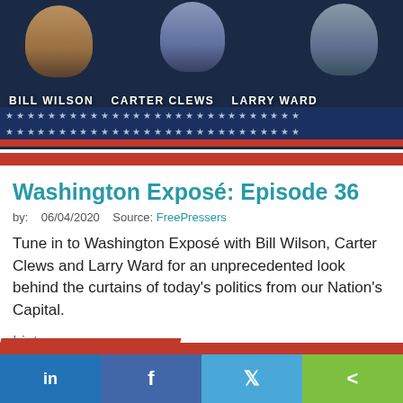[Figure (photo): Banner image for Washington Exposé podcast featuring photos of three hosts — Bill Wilson, Carter Clews, and Larry Ward — against a dark blue background with stars and American flag red/white stripes.]
Washington Exposé: Episode 36
by:   06/04/2020   Source: FreePressers
Tune in to Washington Exposé with Bill Wilson, Carter Clews and Larry Ward for an unprecedented look behind the curtains of today's politics from our Nation's Capital.
Listen now
[Figure (illustration): Decorative red and white diagonal stripes, partial view at bottom of content area above social share bar.]
in   f   🐦   share icons — LinkedIn, Facebook, Twitter, Share